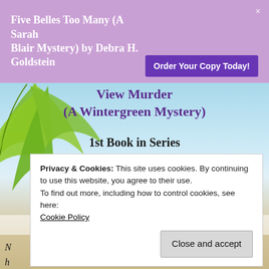Five Belles Too Many (A Sarah Blair Mystery) by Debra H. Goldstein
[Figure (screenshot): Order Your Copy Today! button (purple)]
[Figure (illustration): Beach scene background with palm leaf, light blue sky and sandy shore]
View Murder (A Wintergreen Mystery)
1st Book in Series
[Figure (other): + Add to goodreads button]
Guess who cries at Lou Thorpe's funeral
Privacy & Cookies: This site uses cookies. By continuing to use this website, you agree to their use. To find out more, including how to control cookies, see here: Cookie Policy
Close and accept